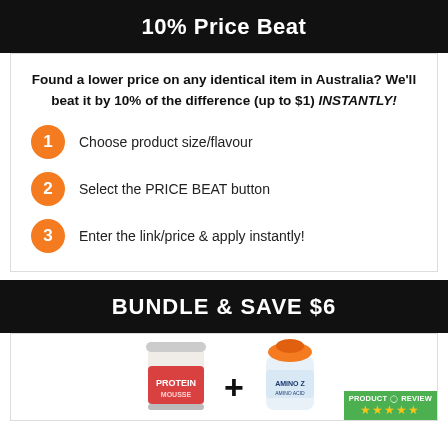10% Price Beat
Found a lower price on any identical item in Australia? We'll beat it by 10% of the difference (up to $1) INSTANTLY!
1 Choose product size/flavour
2 Select the PRICE BEAT button
3 Enter the link/price & apply instantly!
BUNDLE & SAVE $6
[Figure (photo): Product bundle image showing a Protein Mousse tub on the left, a plus sign in the middle, and an amino Z shaker bottle on the right, with a Product Review 5-star badge in the bottom right corner.]